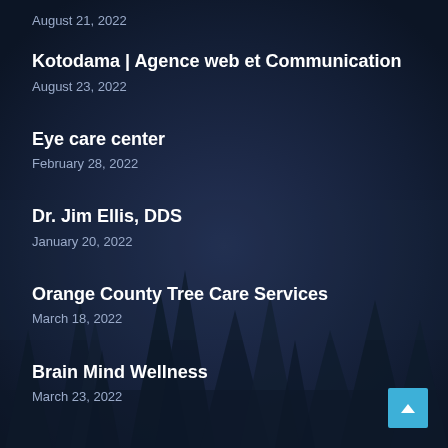August 21, 2022
Kotodama | Agence web et Communication
August 23, 2022
Eye care center
February 28, 2022
Dr. Jim Ellis, DDS
January 20, 2022
Orange County Tree Care Services
March 18, 2022
Brain Mind Wellness
March 23, 2022